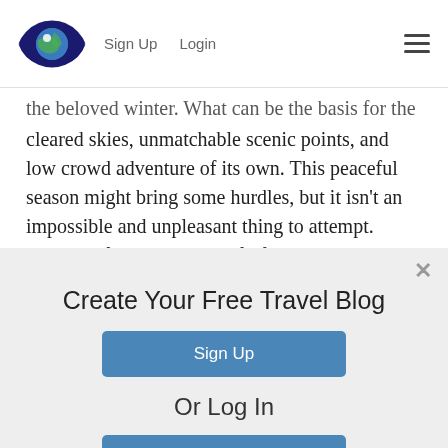Sign Up  Login
the beloved winter. What can be the basis for the cleared skies, unmatchable scenic points, and low crowd adventure of its own. This peaceful season might bring some hurdles, but it isn't an impossible and unpleasant thing to attempt. Detangle from the chaos of life and live in it as you get immersed in true Himalayan nature.
Create Your Free Travel Blog
Sign Up
Or Log In
Log In